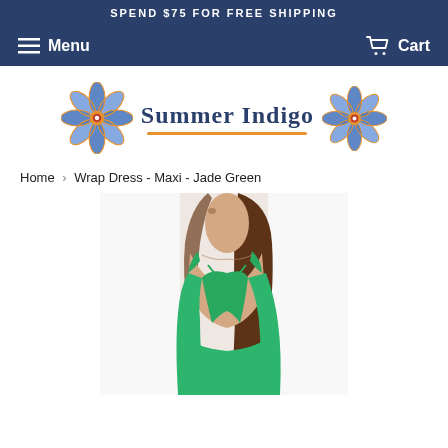SPEND $75 FOR FREE SHIPPING
Menu   Cart
[Figure (logo): Summer Indigo brand logo with two mandala flower decorations on each side and text 'Summer Indigo' with an orange underline]
Home › Wrap Dress - Maxi - Jade Green
[Figure (photo): Woman wearing a jade green wrap maxi dress, showing the upper body and neckline with cross-over straps, brown hair over shoulder]